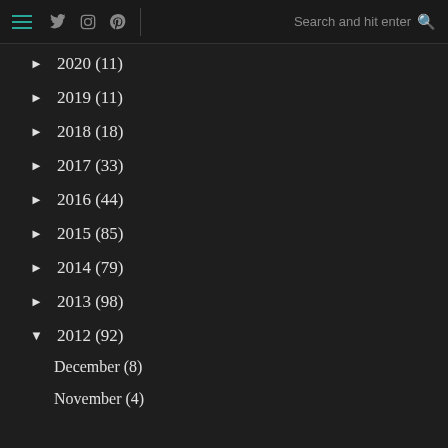≡ Twitter Instagram Pinterest | Search and hit enter 🔍
► 2020 (11)
► 2019 (11)
► 2018 (18)
► 2017 (33)
► 2016 (44)
► 2015 (85)
► 2014 (79)
► 2013 (98)
▼ 2012 (92)
December (8)
November (4)